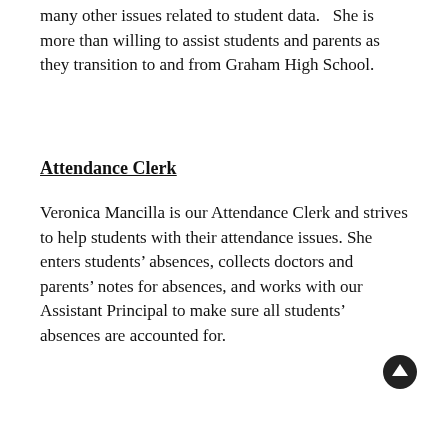many other issues related to student data.   She is more than willing to assist students and parents as they transition to and from Graham High School.
Attendance Clerk
Veronica Mancilla is our Attendance Clerk and strives to help students with their attendance issues. She enters students' absences, collects doctors and parents' notes for absences, and works with our Assistant Principal to make sure all students' absences are accounted for.